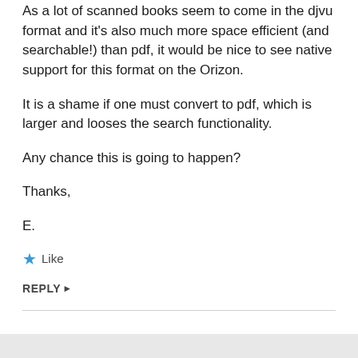As a lot of scanned books seem to come in the djvu format and it's also much more space efficient (and searchable!) than pdf, it would be nice to see native support for this format on the Orizon.
It is a shame if one must convert to pdf, which is larger and looses the search functionality.
Any chance this is going to happen?
Thanks,
E.
★ Like
REPLY ▸